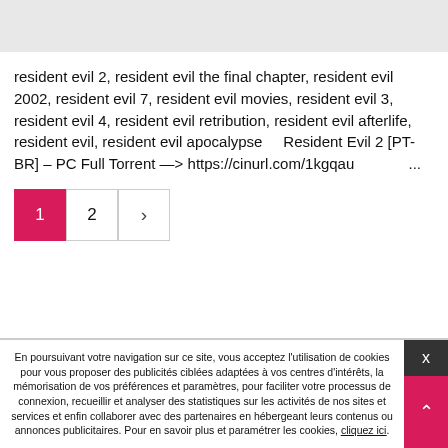[Figure (other): Gray banner/placeholder bar at the top of the page]
resident evil 2, resident evil the final chapter, resident evil 2002, resident evil 7, resident evil movies, resident evil 3, resident evil 4, resident evil retribution, resident evil afterlife, resident evil, resident evil apocalypse    Resident Evil 2 [PT-BR] – PC Full Torrent —> https://cinurl.com/1kgqau                  ...
1  2  >
En poursuivant votre navigation sur ce site, vous acceptez l'utilisation de cookies pour vous proposer des publicités ciblées adaptées à vos centres d'intérêts, la mémorisation de vos préférences et paramètres, pour faciliter votre processus de connexion, recueillir et analyser des statistiques sur les activités de nos sites et services et enfin collaborer avec des partenaires en hébergeant leurs contenus ou annonces publicitaires. Pour en savoir plus et paramétrer les cookies, cliquez ici.